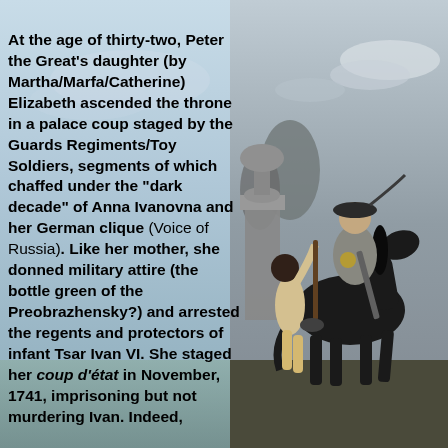At the age of thirty-two, Peter the Great's daughter (by Martha/Marfa/Catherine) Elizabeth ascended the throne in a palace coup staged by the Guards Regiments/Toy Soldiers, segments of which chaffed under the "dark decade" of Anna Ivanovna and her German clique (Voice of Russia). Like her mother, she donned military attire (the bottle green of the Preobrazhensky?) and arrested the regents and protectors of infant Tsar Ivan VI. She staged her coup d'état in November, 1741, imprisoning but not murdering Ivan. Indeed, she vowed that the death...
[Figure (photo): A black and white painting/portrait showing Elizabeth of Russia on horseback in military attire, accompanied by a figure on foot, in a classical garden setting.]